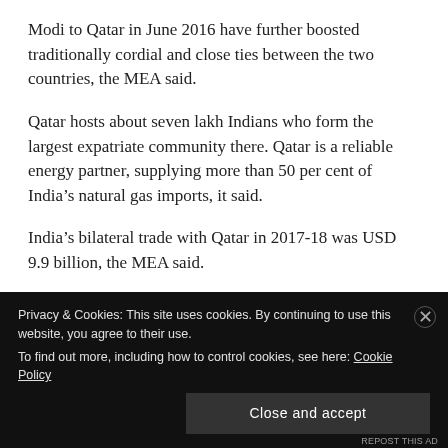Modi to Qatar in June 2016 have further boosted traditionally cordial and close ties between the two countries, the MEA said.
Qatar hosts about seven lakh Indians who form the largest expatriate community there. Qatar is a reliable energy partner, supplying more than 50 per cent of India’s natural gas imports, it said.
India’s bilateral trade with Qatar in 2017-18 was USD 9.9 billion, the MEA said.
The next leg of the visit would be to Kuwait, where Swaraj will hold a bilateral meeting with her
Privacy & Cookies: This site uses cookies. By continuing to use this website, you agree to their use.
To find out more, including how to control cookies, see here: Cookie Policy
Close and accept